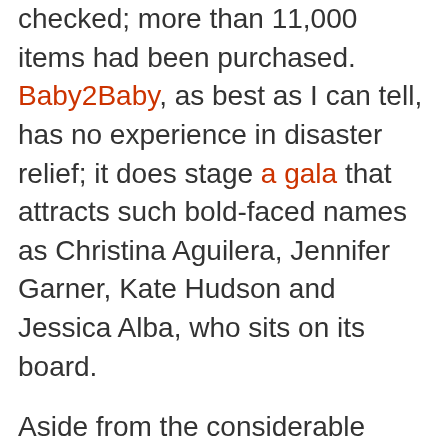checked; more than 11,000 items had been purchased. Baby2Baby, as best as I can tell, has no experience in disaster relief; it does stage a gala that attracts such bold-faced names as Christina Aguilera, Jennifer Garner, Kate Hudson and Jessica Alba, who sits on its board.
Aside from the considerable logistical challenge of getting all those socks and toothbrushes to those in need, there's the not-insignificant question of whether socks and toothbrushes are what they want.
Tim Ogden, an author and expert on